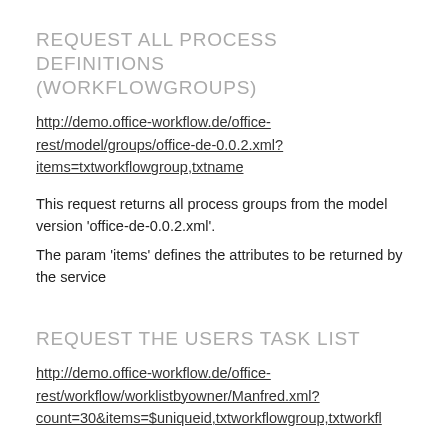REQUEST ALL PROCESS DEFINITIONS (WORKFLOWGROUPS)
http://demo.office-workflow.de/office-rest/model/groups/office-de-0.0.2.xml?items=txtworkflowgroup,txtname
This request returns all process groups from the model version 'office-de-0.0.2.xml'.
The param 'items' defines the attributes to be returned by the service
REQUEST THE USERS TASK LIST
http://demo.office-workflow.de/office-rest/workflow/worklistbyowner/Manfred.xml?count=30&items=$uniqueid,txtworkflowgroup,txtworkfl